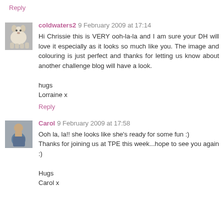Reply
coldwaters2 9 February 2009 at 17:14
Hi Chrissie this is VERY ooh-la-la and I am sure your DH will love it especially as it looks so much like you. The image and colouring is just perfect and thanks for letting us know about another challenge blog will have a look.

hugs
Lorraine x
Reply
Carol 9 February 2009 at 17:58
Ooh la, la!! she looks like she's ready for some fun :)
Thanks for joining us at TPE this week...hope to see you again :)

Hugs
Carol x